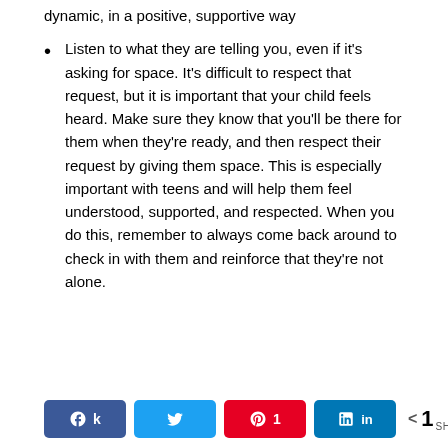dynamic, in a positive, supportive way
Listen to what they are telling you, even if it's asking for space. It's difficult to respect that request, but it is important that your child feels heard. Make sure they know that you'll be there for them when they're ready, and then respect their request by giving them space. This is especially important with teens and will help them feel understood, supported, and respected. When you do this, remember to always come back around to check in with them and reinforce that they're not alone.
[Figure (infographic): Social share bar with Facebook, Twitter, Pinterest (1 share), LinkedIn buttons and a share count showing 1 SHARES]